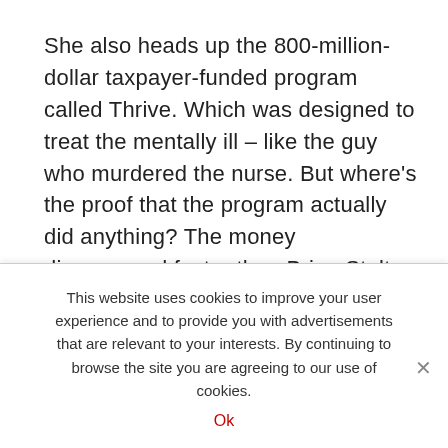She also heads up the 800-million-dollar taxpayer-funded program called Thrive. Which was designed to treat the mentally ill – like the guy who murdered the nurse. But where's the proof that the program actually did anything? The money disappeared faster than Brian Stelter at a donut factory.
If you take a casual drive around the city – and you don't get carjacked first – you'll see countless destitute zombies. But it's hard to investigate the
This website uses cookies to improve your user experience and to provide you with advertisements that are relevant to your interests. By continuing to browse the site you are agreeing to our use of cookies.
Ok